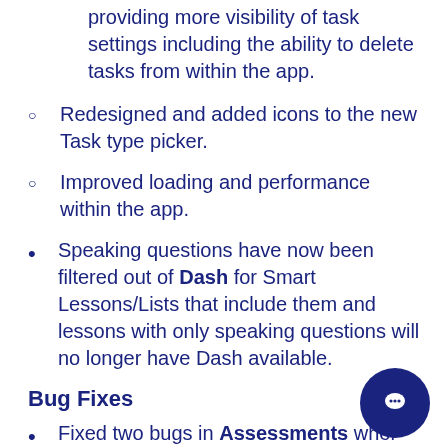providing more visibility of task settings including the ability to delete tasks from within the app.
Redesigned and added icons to the new Task type picker.
Improved loading and performance within the app.
Speaking questions have now been filtered out of Dash for Smart Lessons/Lists that include them and lessons with only speaking questions will no longer have Dash available.
Bug Fixes
Fixed two bugs in Assessments wher
Users would get stuck on the loading